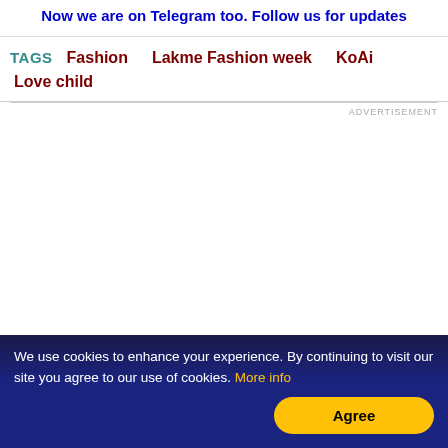Now we are on Telegram too. Follow us for updates
TAGS   Fashion   Lakme Fashion week   KoAi   Love child
ADVERTISEMENT
We use cookies to enhance your experience. By continuing to visit our site you agree to our use of cookies. More info